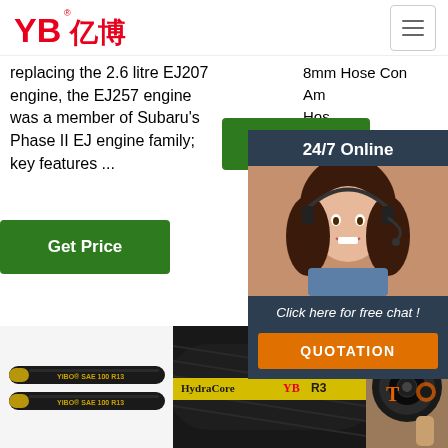[Figure (logo): YB亿博 logo in red]
replacing the 2.6 litre EJ207 engine, the EJ257 engine was a member of Subaru's Phase II EJ engine family; key features ...
8mm Hose Connector Amazon Hose Flex Hose Hose Adapter
Get Price
Get Price
G
[Figure (photo): Chat popup with 24/7 Online text, woman with headset, Click here for free chat message, and QUOTATION orange button]
[Figure (photo): Two black rubber hoses labeled YIBO SAE 100 R13]
[Figure (photo): Black and yellow industrial hose labeled JB R3]
[Figure (photo): Close-up of hose cross-section showing internal structure with orange sparkle/dots and TO text overlay]